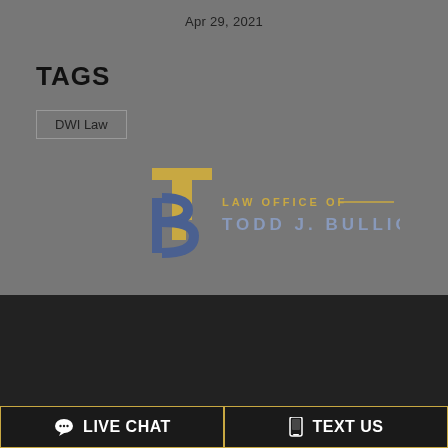Apr 29, 2021
TAGS
DWI Law
[Figure (logo): Law Office of Todd J. Bullion logo with TB monogram in blue and gold]
LEGAL DISCLAIMER
LIVE CHAT
TEXT US